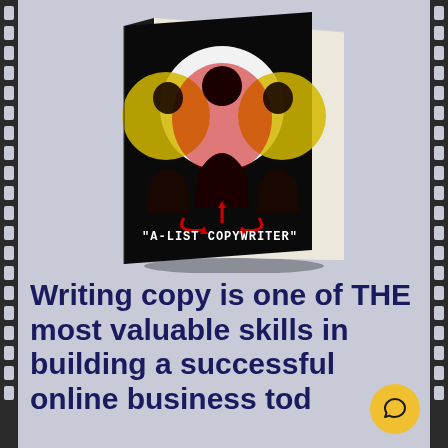[Figure (illustration): A 3D book cover showing three silhouettes against glowing circles (white center, yellow sides). Red arrows point to the center figure. Text on the book cover reads "A-LIST COPYWRITER".]
Writing copy is one of THE most valuable skills in building a successful online business tod